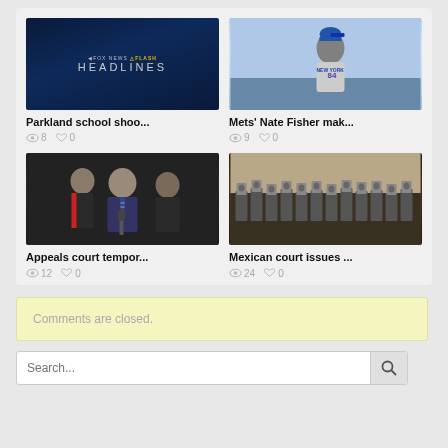[Figure (screenshot): Fox News Flash Headlines video thumbnail - dark blue background with Fox News Flash branding and HEADLINES text]
Parkland school shoo...
8  0
[Figure (photo): New York Mets pitcher number 64 in gray uniform throwing a pitch]
Mets' Nate Fisher mak...
9  0
[Figure (photo): Politicians at a press conference, man in center pointing finger upward, wearing suit and striped tie]
Appeals court tempor...
12  0
[Figure (photo): Large outdoor protest march with people holding up portraits/signs, crowd on a street]
Mexican court issues ...
24  0
Comments are closed.
Search...